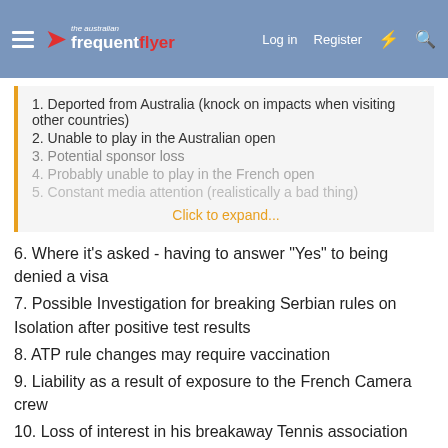The Australian Frequent Flyer — Log in  Register
1. Deported from Australia (knock on impacts when visiting other countries)
2. Unable to play in the Australian open
3. Potential sponsor loss
4. Probably unable to play in the French open
5. Constant media attention (realistically a bad thing)
Click to expand...
6. Where it's asked - having to answer "Yes" to being denied a visa
7. Possible Investigation for breaking Serbian rules on Isolation after positive test results
8. ATP rule changes may require vaccination
9. Liability as a result of exposure to the French Camera crew
10. Loss of interest in his breakaway Tennis association
Reply
MARTINE and henrus
SeatBackForward